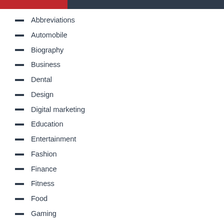Abbreviations
Automobile
Biography
Business
Dental
Design
Digital marketing
Education
Entertainment
Fashion
Finance
Fitness
Food
Gaming
General